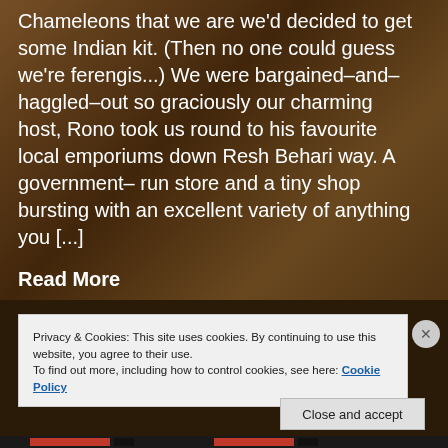Chameleons that we are we'd decided to get some Indian kit. (Then no one could guess we're ferengis...) We were bargained–and–haggled–out so graciously our charming host, Rono took us round to his favourite local emporiums down Resh Behari way. A government– run store and a tiny shop bursting with an excellent variety of anything you [...]
Read More
Privacy & Cookies: This site uses cookies. By continuing to use this website, you agree to their use.
To find out more, including how to control cookies, see here: Cookie Policy
Close and accept